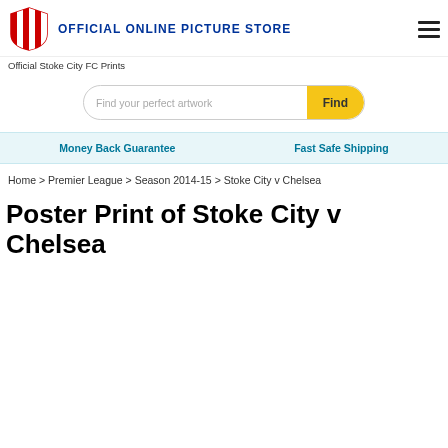[Figure (logo): Stoke City FC logo - circular red and white striped crest with shield]
OFFICIAL ONLINE PICTURE STORE
Official Stoke City FC Prints
Find your perfect artwork | Find
Money Back Guarantee    Fast Safe Shipping
Home > Premier League > Season 2014-15 > Stoke City v Chelsea
Poster Print of Stoke City v Chelsea